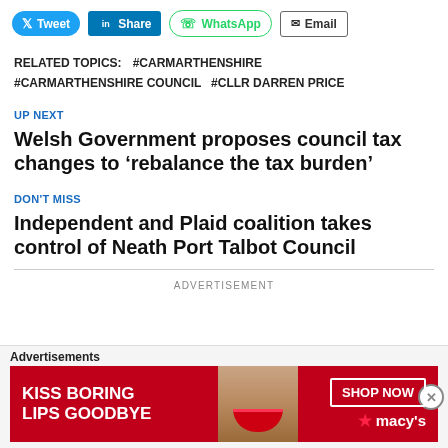[Figure (screenshot): Social sharing buttons row: Tweet (Twitter/blue), Share (LinkedIn/blue), WhatsApp (green outline), Email (grey outline)]
RELATED TOPICS: #CARMARTHENSHIRE #CARMARTHENSHIRE COUNCIL #CLLR DARREN PRICE
UP NEXT
Welsh Government proposes council tax changes to ‘rebalance the tax burden’
DON'T MISS
Independent and Plaid coalition takes control of Neath Port Talbot Council
ADVERTISEMENT
[Figure (photo): Advertisement banner: Macy's lipstick ad. Red background, text 'KISS BORING LIPS GOODBYE', 'SHOP NOW', Macy's star logo, and a woman's face with red lips.]